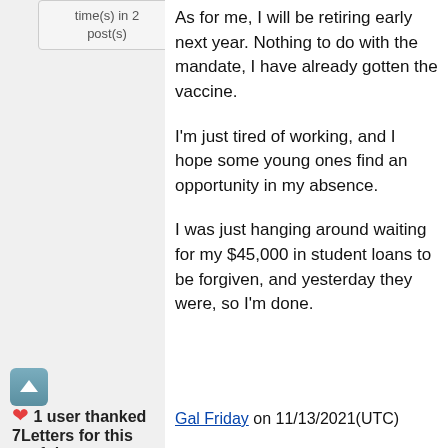time(s) in 2 post(s)
As for me, I will be retiring early next year. Nothing to do with the mandate, I have already gotten the vaccine.

I'm just tired of working, and I hope some young ones find an opportunity in my absence.

I was just hanging around waiting for my $45,000 in student loans to be forgiven, and yesterday they were, so I'm done.
[Figure (other): Upvote arrow button (teal rounded square with white upward arrow)]
❤ 1 user thanked 7Letters for this useful
Gal Friday on 11/13/2021(UTC)